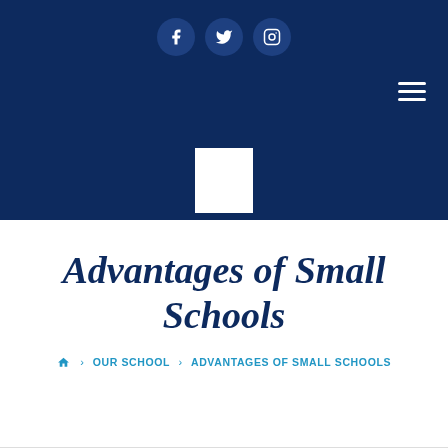[Figure (other): Dark navy blue website header with social media icons (Facebook, Twitter, Instagram) in circular buttons, a hamburger menu icon in top right, and a white logo placeholder square in the center-bottom of the header area.]
Advantages of Small Schools
Home > OUR SCHOOL > ADVANTAGES OF SMALL SCHOOLS